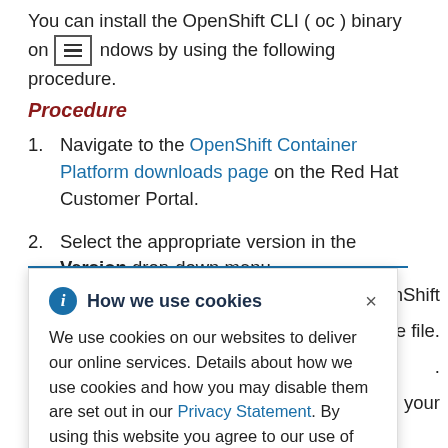You can install the OpenShift CLI ( oc ) binary on Windows by using the following procedure.
Procedure
Navigate to the OpenShift Container Platform downloads page on the Red Hat Customer Portal.
Select the appropriate version in the Version drop-down menu.
[Figure (screenshot): Cookie consent banner popup with title 'How we use cookies', description about cookies and Privacy Statement link, and a close button.]
...enShift ...the file.
...at is on your